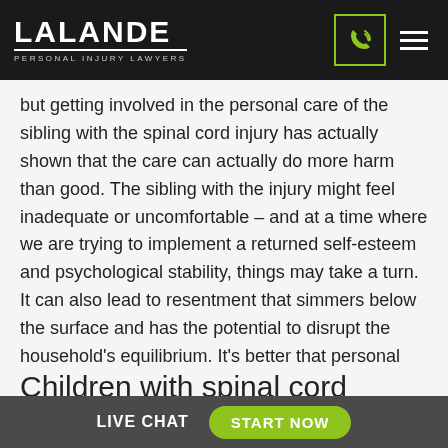LALANDE PERSONAL INJURY LAWYERS
but getting involved in the personal care of the sibling with the spinal cord injury has actually shown that the care can actually do more harm than good. The sibling with the injury might feel inadequate or uncomfortable – and at a time where we are trying to implement a returned self-esteem and psychological stability, things may take a turn. It can also lead to resentment that simmers below the surface and has the potential to disrupt the household's equilibrium. It's better that personal care be left to the rehabilitation workers.
Children with spinal cord
LIVE CHAT  START NOW